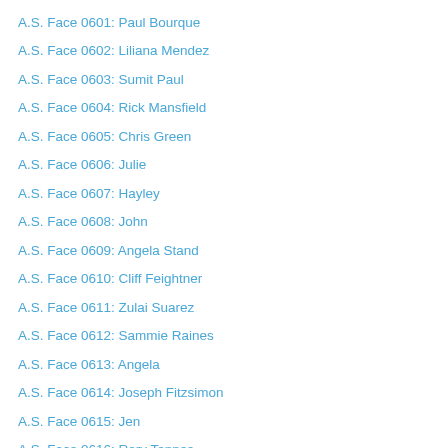A.S. Face 0601: Paul Bourque
A.S. Face 0602: Liliana Mendez
A.S. Face 0603: Sumit Paul
A.S. Face 0604: Rick Mansfield
A.S. Face 0605: Chris Green
A.S. Face 0606: Julie
A.S. Face 0607: Hayley
A.S. Face 0608: John
A.S. Face 0609: Angela Stand
A.S. Face 0610: Cliff Feightner
A.S. Face 0611: Zulai Suarez
A.S. Face 0612: Sammie Raines
A.S. Face 0613: Angela
A.S. Face 0614: Joseph Fitzsimon
A.S. Face 0615: Jen
A.S. Face 0616: Rory Tennes
A.S. Face 0617: Michele Seiler
A.S. Face 0618: Dawn Marie Thompson
A.S. Face 0619: Devon Langston
A.S. Face 0620: William Potts